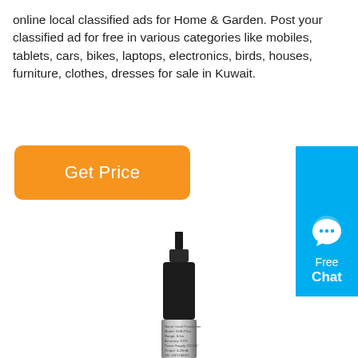online local classified ads for Home & Garden. Post your classified ad for free in various categories like mobiles, tablets, cars, bikes, laptops, electronics, birds, houses, furniture, clothes, dresses for sale in Kuwait.
[Figure (other): Orange 'Get Price' button with rounded corners]
[Figure (other): Cyan/blue 'Free Chat' badge with speech bubble icon in top-right corner]
[Figure (photo): A level transmitter sensor device with a black connector/cable head on top and a silver metallic cylindrical body with engraved specifications text including: Name: Level Transmitter, Model: SUR-P2xx, Range: 0-5m, Accuracy: 0.5%, Power Supply: DC24V, Output: 4-20mA, SN: 2021180011]